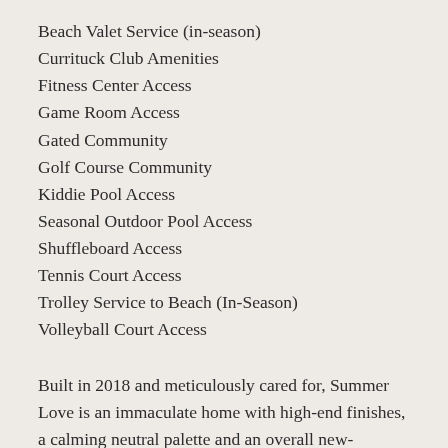Beach Valet Service (in-season)
Currituck Club Amenities
Fitness Center Access
Game Room Access
Gated Community
Golf Course Community
Kiddie Pool Access
Seasonal Outdoor Pool Access
Shuffleboard Access
Tennis Court Access
Trolley Service to Beach (In-Season)
Volleyball Court Access
Built in 2018 and meticulously cared for, Summer Love is an immaculate home with high-end finishes, a calming neutral palette and an overall new-construction vibe. Professionally furnished and decorated with a nod to both coastal and modern farmhouse design, this six bedroom home is sure to